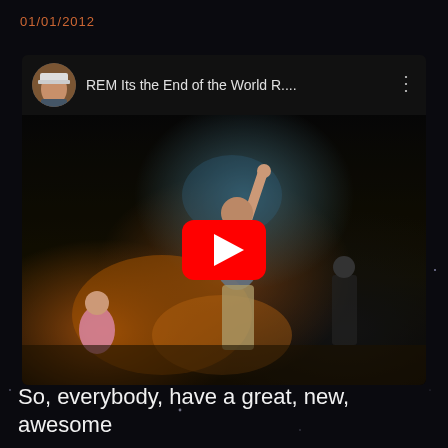01/01/2012
[Figure (screenshot): YouTube video card showing 'REM Its the End of the World R....' with a concert thumbnail. A performer is on stage with one arm raised. Red YouTube play button overlay visible. User avatar is a circular photo of a man in a white cap.]
So, everybody, have a great, new, awesome